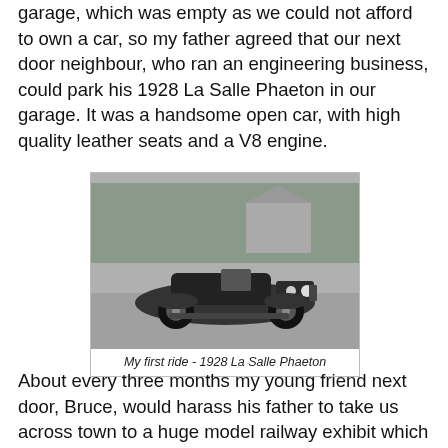garage, which was empty as we could not afford to own a car, so my father agreed that our next door neighbour, who ran an engineering business, could park his 1928 La Salle Phaeton in our garage. It was a handsome open car, with high quality leather seats and a V8 engine.
[Figure (photo): Black and white photograph of a 1928 La Salle Phaeton vintage open-top automobile parked on a road with trees and a house in the background.]
My first ride - 1928 La Salle Phaeton
About every three months my young friend next door, Bruce, would harass his father to take us across town to a huge model railway exhibit which was set out in the basement of a large...